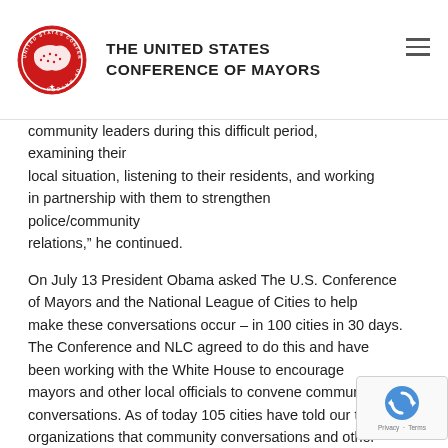THE UNITED STATES CONFERENCE OF MAYORS
community leaders during this difficult period, examining their local situation, listening to their residents, and working in partnership with them to strengthen police/community relations,” he continued.
On July 13 President Obama asked The U.S. Conference of Mayors and the National League of Cities to help make these conversations occur – in 100 cities in 30 days. The Conference and NLC agreed to do this and have been working with the White House to encourage mayors and other local officials to convene community conversations. As of today 105 cities have told our two organizations that community conversations and other